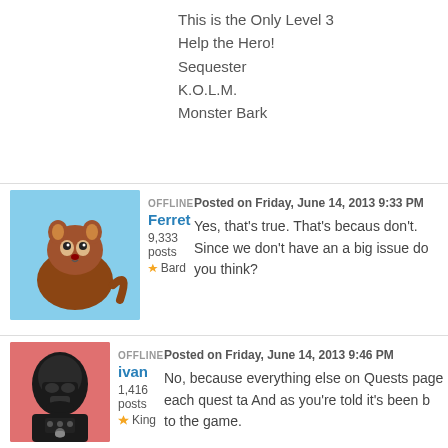This is the Only Level 3
Help the Hero!
Sequester
K.O.L.M.
Monster Bark
OFFLINE
Ferret
9,333 posts
Bard
Posted on Friday, June 14, 2013 9:33 PM
Yes, that's true. That's because don't. Since we don't have an a big issue do you think?
OFFLINE
ivan
1,416 posts
King
Posted on Friday, June 14, 2013 9:46 PM
No, because everything else on Quests page each quest ta And as you're told it's been b to the game.
OFFLINE
ivan
1,416 posts
King
Posted on Tuesday, June 25, 2013 6:03 P
If you are wondering how mu or for which game they won th